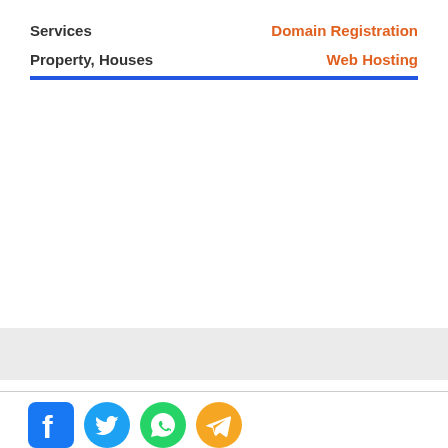Services
Domain Registration
Property, Houses
Web Hosting
[Figure (illustration): Blue horizontal divider line]
[Figure (illustration): Light gray horizontal bar near bottom of page]
[Figure (illustration): Social media icons row: Facebook (blue), Twitter (blue bird), WhatsApp (green), Telegram (orange)]